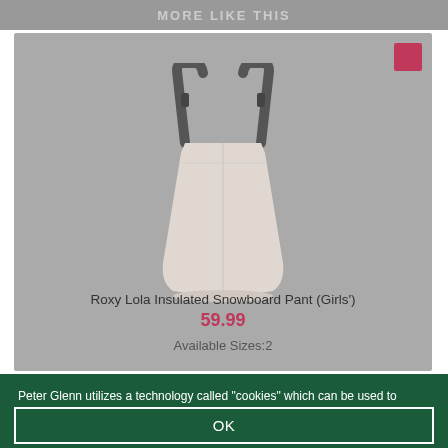MORE LIKE THIS
[Figure (photo): Product image of Roxy Lola Insulated Snowboard Pant (Girls') — a light beige/cream colored bib snowboard pant with dark shoulder straps, shown hanging. A pink/red color swatch is shown in the top-right corner of the card.]
Roxy Lola Insulated Snowboard Pant (Girls')
59.99
Available Sizes:2
Peter Glenn utilizes a technology called "cookies" which can be used to provide you with tailored information. Our cookies do not contain any personal identification information, but they do enable us to provide features to improve your shopping experience such as storing items in your shopping cart between visits. View our Cookie Policy »
OK